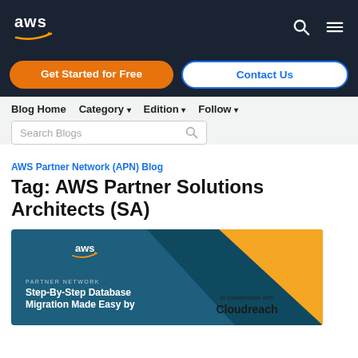[Figure (logo): AWS logo with orange swoosh arrow on dark navy background, with search and menu icons]
[Figure (screenshot): CTA bar with orange 'Get Started for Free' button and blue-outlined 'Contact Us' button]
Blog Home   Category ▾   Edition ▾   Follow ▾
Search Blogs
AWS Partner Network (APN) Blog
Tag: AWS Partner Solutions Architects (SA)
[Figure (illustration): Article thumbnail showing AWS Partner Network blog post: 'Step-By-Step Database Migration Made Easy by...' with teal and orange geometric design, AWS logo, and Cloudreach collab logo]